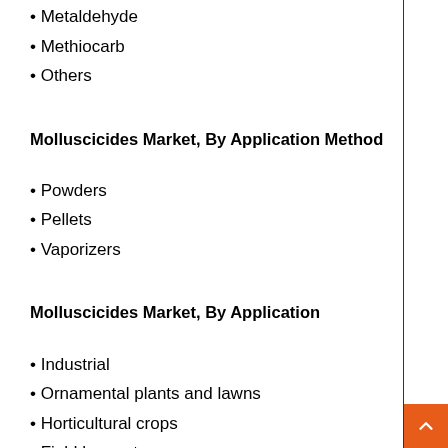Metaldehyde
Methiocarb
Others
Molluscicides Market, By Application Method
Powders
Pellets
Vaporizers
Molluscicides Market, By Application
Industrial
Ornamental plants and lawns
Horticultural crops
Field harvests